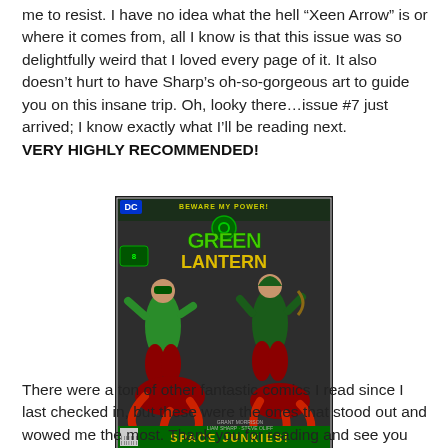me to resist. I have no idea what the hell “Xeen Arrow” is or where it comes from, all I know is that this issue was so delightfully weird that I loved every page of it. It also doesn’t hurt to have Sharp’s oh-so-gorgeous art to guide you on this insane trip. Oh, looky there…issue #7 just arrived; I know exactly what I’ll be reading next.
VERY HIGHLY RECOMMENDED!
[Figure (photo): Comic book cover of Green Lantern issue 8, featuring two characters in green costumes fighting, with red tentacled creatures below. Title reads 'BEWARE MY POWER! GREEN LANTERN' and subtitle 'SPACE JUNKIES!' DC Comics logo in top left corner.]
There were a ton of other fantastic comics I read since I last checked in, but these were the ones that stood out and wowed me the most. Thank you for reading and see you